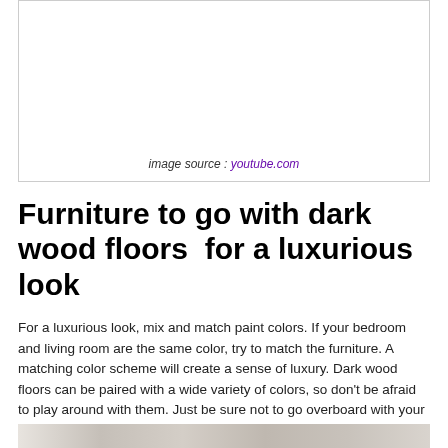[Figure (other): Empty white image box with image source credit at bottom]
image source : youtube.com
Furniture to go with dark wood floors  for a luxurious look
For a luxurious look, mix and match paint colors. If your bedroom and living room are the same color, try to match the furniture. A matching color scheme will create a sense of luxury. Dark wood floors can be paired with a wide variety of colors, so don’t be afraid to play around with them. Just be sure not to go overboard with your colors. In addition, you can mix and match furniture pieces.
[Figure (photo): Partial photo visible at bottom of page]